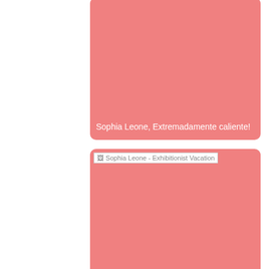[Figure (other): Pink card with text: Sophia Leone, Extremadamente caliente!]
[Figure (other): Pink card with broken image placeholder 'Sophia Leone - Exhibitionist Vacation' and title text at bottom]
[Figure (other): Pink card with broken image placeholder 'Sophia Leone A Selena Santana']